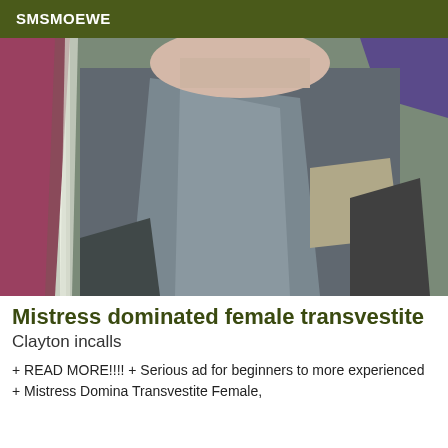SMSMOEWE
[Figure (photo): Blurry close-up photograph of a person wearing a dark grey top, taken at an angle in a room with pink/purple fabric visible and a light-colored wall or door frame on the left.]
Mistress dominated female transvestite
Clayton incalls
+ READ MORE!!!! + Serious ad for beginners to more experienced + Mistress Domina Transvestite Female,